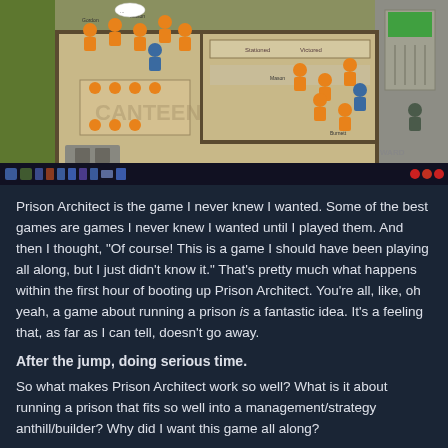[Figure (screenshot): Screenshot of the game Prison Architect showing a top-down view of a prison with guards in blue and prisoners in orange jumpsuits, kitchen/canteen area, and various rooms. A game UI bar is visible at the bottom of the screenshot.]
Prison Architect is the game I never knew I wanted. Some of the best games are games I never knew I wanted until I played them. And then I thought, "Of course! This is a game I should have been playing all along, but I just didn't know it." That's pretty much what happens within the first hour of booting up Prison Architect. You're all, like, oh yeah, a game about running a prison is a fantastic idea. It's a feeling that, as far as I can tell, doesn't go away.
After the jump, doing serious time.
So what makes Prison Architect work so well? What is it about running a prison that fits so well into a management/strategy anthill/builder? Why did I want this game all along?